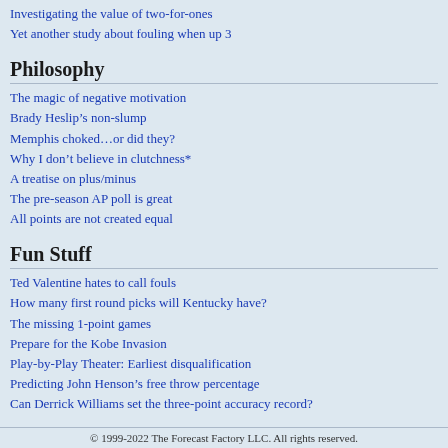Investigating the value of two-for-ones
Yet another study about fouling when up 3
Philosophy
The magic of negative motivation
Brady Heslip’s non-slump
Memphis choked…or did they?
Why I don’t believe in clutchness*
A treatise on plus/minus
The pre-season AP poll is great
All points are not created equal
Fun Stuff
Ted Valentine hates to call fouls
How many first round picks will Kentucky have?
The missing 1-point games
Prepare for the Kobe Invasion
Play-by-Play Theater: Earliest disqualification
Predicting John Henson’s free throw percentage
Can Derrick Williams set the three-point accuracy record?
© 1999-2022 The Forecast Factory LLC. All rights reserved.